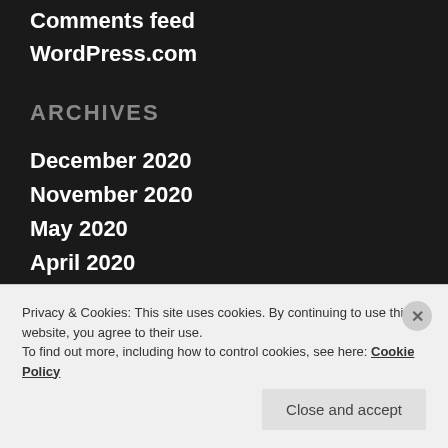Comments feed
WordPress.com
ARCHIVES
December 2020
November 2020
May 2020
April 2020
September 2019
August 2019
Privacy & Cookies: This site uses cookies. By continuing to use this website, you agree to their use.
To find out more, including how to control cookies, see here: Cookie Policy